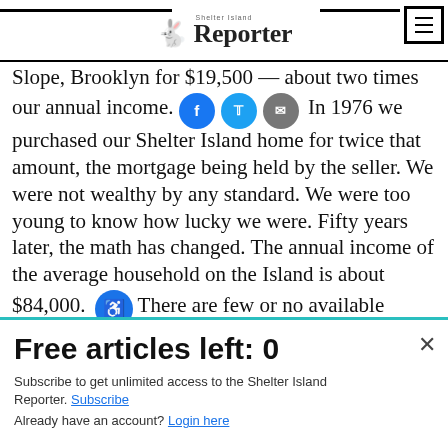Shelter Island Reporter
Slope, Brooklyn for $19,500 — about two times our annual income. In 1976 we purchased our Shelter Island home for twice that amount, the mortgage being held by the seller. We were not wealthy by any standard. We were too young to know how lucky we were. Fifty years later, the math has changed. The annual income of the average household on the Island is about $84,000. There are few or no available houses for less than $900,000. That's the new math. Yes, I worked hard and own my home. But I benefited from a different economy.
Free articles left: 0
Subscribe to get unlimited access to the Shelter Island Reporter. Subscribe
Already have an account? Login here